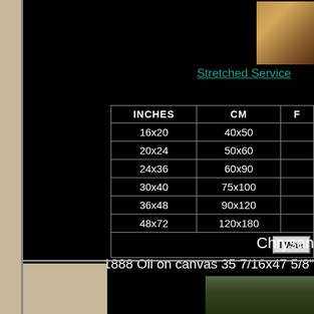[Figure (photo): Small thumbnail photo of a stretched canvas frame corner, showing wooden stretcher bars]
Stretched Service
| INCHES | CM | F |
| --- | --- | --- |
| 16x20 | 40x50 |  |
| 20x24 | 50x60 |  |
| 24x36 | 60x90 |  |
| 30x40 | 75x100 |  |
| 36x48 | 90x120 |  |
| 48x72 | 120x180 |  |
Chrysan
1888 Oil on canvas 35 7/16x47 5/8"
[Figure (photo): Bottom portion of a landscape painting in a dark frame, showing green foliage and sky]